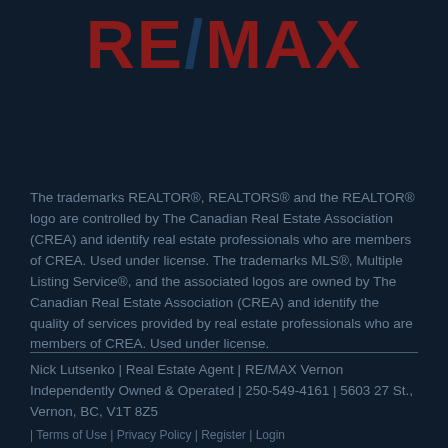[Figure (logo): RE/MAX logo in dark red with dark blue slash on dark navy background]
The trademarks REALTOR®, REALTORS® and the REALTOR® logo are controlled by The Canadian Real Estate Association (CREA) and identify real estate professionals who are members of CREA. Used under license. The trademarks MLS®, Multiple Listing Service®, and the associated logos are owned by The Canadian Real Estate Association (CREA) and identify the quality of services provided by real estate professionals who are members of CREA. Used under license.
Nick Lutsenko | Real Estate Agent | RE/MAX Vernon Independently Owned & Operated | 250-549-4161 | 5603 27 St., Vernon, BC, V1T 8Z5
| Terms of Use | Privacy Policy | Register | Login